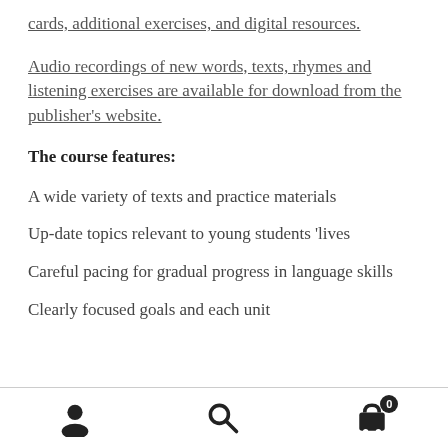cards, additional exercises, and digital resources.
Audio recordings of new words, texts, rhymes and listening exercises are available for download from the publisher's website.
The course features:
A wide variety of texts and practice materials
Up-date topics relevant to young students 'lives
Careful pacing for gradual progress in language skills
Clearly focused goals and each unit
[navigation bar with user, search, and cart icons]